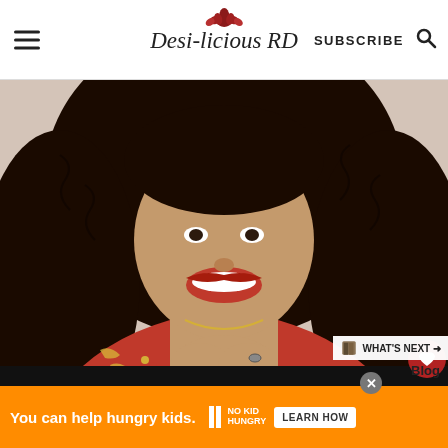[Figure (screenshot): Website header with hamburger menu, Desi-licious RD logo with lotus flower, SUBSCRIBE text, and search icon]
[Figure (photo): Woman with curly dark hair wearing red embroidered top with jewelry, smiling with hands clasped together, red lipstick]
[Figure (infographic): Orange ad banner reading 'You can help hungry kids.' with No Kid Hungry logo and LEARN HOW button]